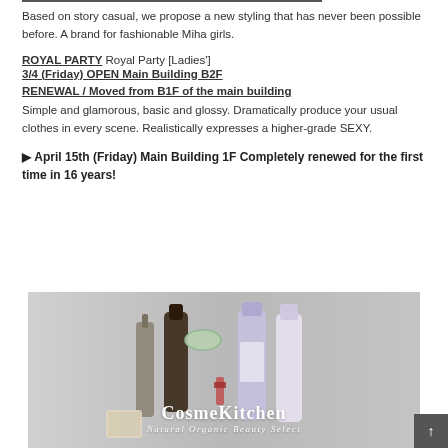Based on story casual, we propose a new styling that has never been possible before. A brand for fashionable Miha girls.
ROYAL PARTY Royal Party [Ladies'] 3/4 (Friday) OPEN Main Building B2F RENEWAL / Moved from B1F of the main building
Simple and glamorous, basic and glossy. Dramatically produce your usual clothes in every scene. Realistically expresses a higher-grade SEXY.
▶ April 15th (Friday) Main Building 1F Completely renewed for the first time in 16 years!
[Figure (photo): Photo of cosmetic beauty products (bottles, tubes, containers) displayed on a light grey background with 'CosmeKitchen Natural Organic Beauty Select' text overlay in white.]